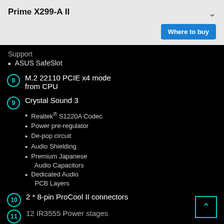Prime X299-A II
Where to buy
Support
ASUS SafeSlot
8  M.2 22110 PCIE x4 mode from CPU
9  Crystal Sound 3
Realtek® S1220A Codec
Power pre-regulator
De-pop circuit
Audio Shielding
Premium Japanese Audio Capacitors
Dedicated Audio PCB Layers
10  2 * 8-pin ProCool II connectors
11  12 IR3555 Power stages